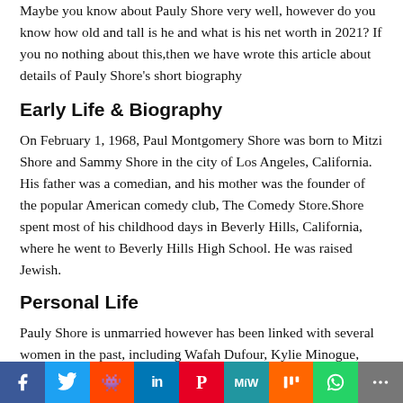Maybe you know about Pauly Shore very well, however do you know how old and tall is he and what is his net worth in 2021? If you no nothing about this,then we have wrote this article about details of Pauly Shore's short biography
Early Life & Biography
On February 1, 1968, Paul Montgomery Shore was born to Mitzi Shore and Sammy Shore in the city of Los Angeles, California. His father was a comedian, and his mother was the founder of the popular American comedy club, The Comedy Store.Shore spent most of his childhood days in Beverly Hills, California, where he went to Beverly Hills High School. He was raised Jewish.
Personal Life
Pauly Shore is unmarried however has been linked with several women in the past, including Wafah Dufour, Kylie Minogue, Jewel De'Nyle and others. He has also been spotted with a girl in recent
f  Twitter  Reddit  in  Pinterest  MeWe  Mix  WhatsApp  Share